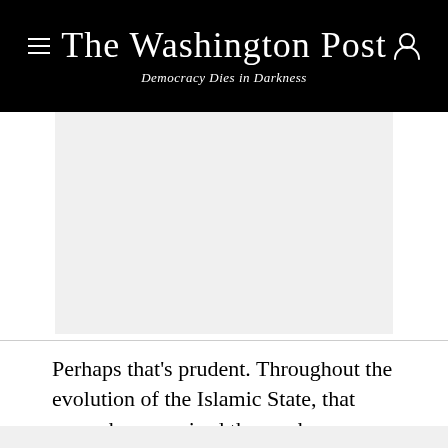The Washington Post
Democracy Dies in Darkness
[Figure (photo): Image placeholder area, light gray background, no visible image content]
Perhaps that's prudent. Throughout the evolution of the Islamic State, that group has surprised those who dismissed it too easily. Boko Haram may have the